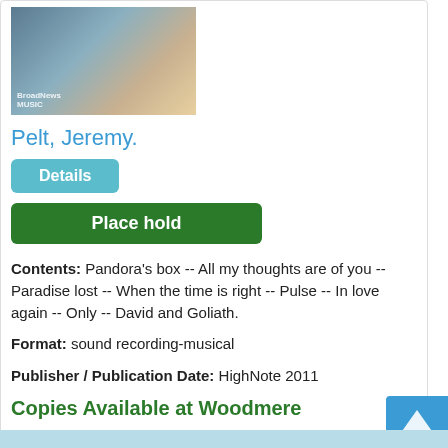[Figure (photo): Photo of a musician playing a brass instrument (trumpet), two people visible, one in white shirt]
Pelt, Jeremy.
Details (button)
Place hold (button)
Contents: Pandora's box -- All my thoughts are of you -- Paradise lost -- When the time is right -- Pulse -- In love again -- Only -- David and Goliath.
Format: sound recording-musical
Publisher / Publication Date: HighNote 2011
Copies Available at Woodmere
1 available in Compact Audio Disc, Call number: CD JAZZ PEL